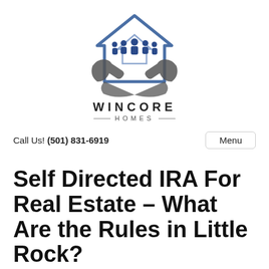[Figure (logo): Wincore Homes logo: a house outline in blue above two hands cradling a group of people silhouettes, with 'WC' text, and 'WINCORE HOMES' text below]
Call Us! (501) 831-6919    Menu
Self Directed IRA For Real Estate – What Are the Rules in Little Rock?
November 20, 2017
By toolsoup